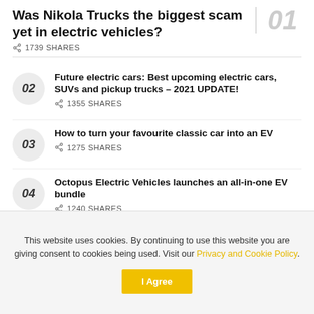Was Nikola Trucks the biggest scam yet in electric vehicles?
1739 SHARES
Future electric cars: Best upcoming electric cars, SUVs and pickup trucks – 2021 UPDATE! — 1355 SHARES
How to turn your favourite classic car into an EV — 1275 SHARES
Octopus Electric Vehicles launches an all-in-one EV bundle — 1240 SHARES
This website uses cookies. By continuing to use this website you are giving consent to cookies being used. Visit our Privacy and Cookie Policy.